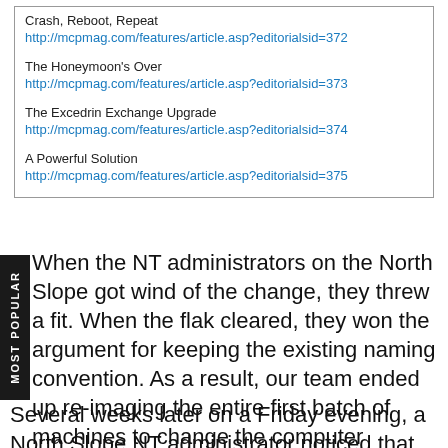Crash, Reboot, Repeat
http://mcpmag.com/features/article.asp?editorialsid=372
The Honeymoon's Over
http://mcpmag.com/features/article.asp?editorialsid=373
The Excedrin Exchange Upgrade
http://mcpmag.com/features/article.asp?editorialsid=374
A Powerful Solution
http://mcpmag.com/features/article.asp?editorialsid=375
When the NT administrators on the North Slope got wind of the change, they threw a fit. When the flak cleared, they won the argument for keeping the existing naming convention. As a result, our team ended up re-imaging the entire first batch of machines to change the computer names.
Several weeks later on a Friday evening, a North Slope NT administrator noticed that there were several machines on his domain